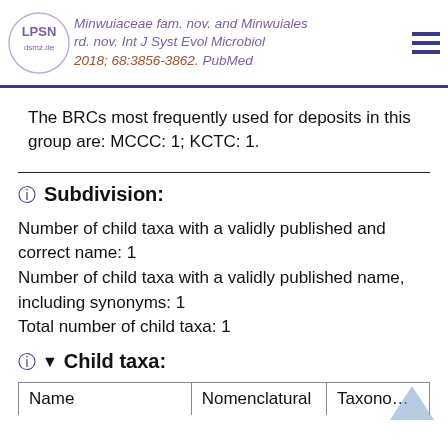Minwuiaceae fam. nov. and Minwuiales ord. nov. Int J Syst Evol Microbiol 2018; 68:3856-3862. PubMed
The BRCs most frequently used for deposits in this group are: MCCC: 1; KCTC: 1.
Subdivision:
Number of child taxa with a validly published and correct name: 1
Number of child taxa with a validly published name, including synonyms: 1
Total number of child taxa: 1
Child taxa:
| Name | Nomenclatural | Taxono… |
| --- | --- | --- |